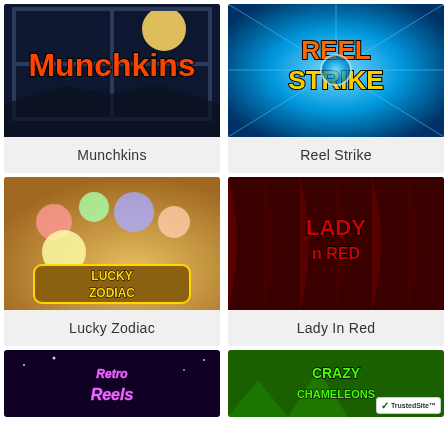[Figure (screenshot): Munchkins casino slot game thumbnail - dark blue night scene with window and orange/red stylized text 'Munchkins']
Munchkins
[Figure (screenshot): Reel Strike casino slot game thumbnail - bright blue background with marlin fish and stylized text 'Reel Strike']
Reel Strike
[Figure (screenshot): Lucky Zodiac casino slot game thumbnail - golden/orange background with cartoon animals and text 'Lucky Zodiac']
Lucky Zodiac
[Figure (screenshot): Lady In Red casino slot game thumbnail - dark red curtain background with red stylized text 'Lady n Red']
Lady In Red
[Figure (screenshot): Retro Reels casino slot game thumbnail - dark purple background with pink neon-style text 'Retro Reels']
[Figure (screenshot): Crazy Chameleons casino slot game thumbnail - green background with green text 'Crazy Chameleons' and TrustedSite badge]